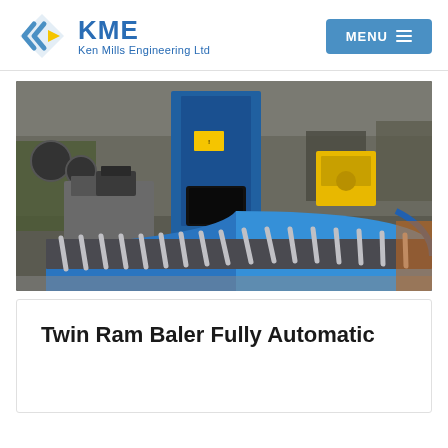KME Ken Mills Engineering Ltd | MENU
[Figure (photo): Industrial photo of a Twin Ram Baler Fully Automatic machine in a factory setting. Shows a blue vertical baler/compactor unit in the center background, a grey hydraulic power unit on the left, and a curved blue roller conveyor in the foreground. Yellow equipment visible in background.]
Twin Ram Baler Fully Automatic